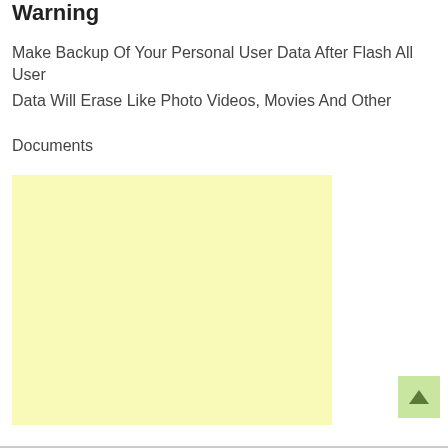Warning
Make Backup Of Your Personal User Data After Flash All User
Data Will Erase Like Photo Videos, Movies And Other
Documents
[Figure (other): Yellow advertisement placeholder box]
[Figure (other): Green scroll-to-top button with upward arrow]